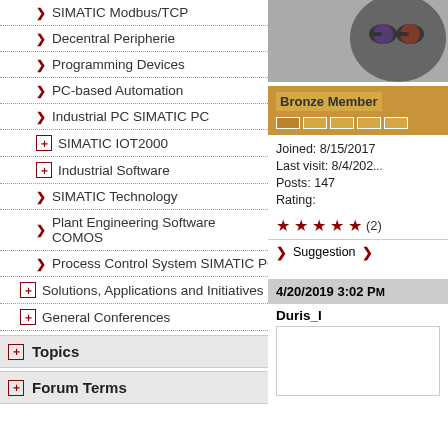> SIMATIC Modbus/TCP
> Decentral Peripherie
> Programming Devices
> PC-based Automation
> Industrial PC SIMATIC PC
[+] SIMATIC IOT2000
[+] Industrial Software
> SIMATIC Technology
> Plant Engineering Software COMOS
> Process Control System SIMATIC PCS
[+] Solutions, Applications and Initiatives
[+] General Conferences
Topics
Forum Terms
[Figure (photo): Profile photo of a cat wearing star/galaxy sunglasses]
Bronze Member
Joined: 8/15/2017
Last visit: 8/4/202...
Posts: 147
Rating:
★★★★★ (2)
> Suggestion > ...
4/20/2019 3:02 PM
Duris_I